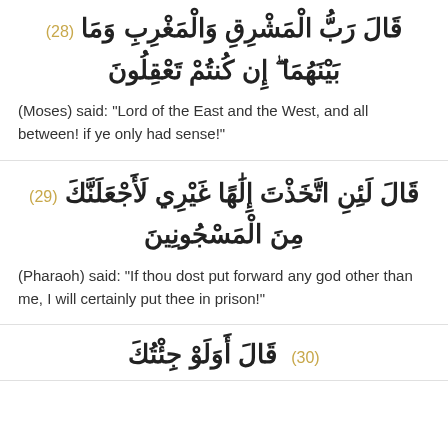قَالَ رَبُّ الْمَشْرِقِ وَالْمَغْرِبِ وَمَا بَيْنَهُمَا ۖ إِن كُنتُمْ تَعْقِلُونَ (28)
(Moses) said: "Lord of the East and the West, and all between! if ye only had sense!"
قَالَ لَئِنِ اتَّخَذْتَ إِلَٰهًا غَيْرِي لَأَجْعَلَنَّكَ مِنَ الْمَسْجُونِينَ (29)
(Pharaoh) said: "If thou dost put forward any god other than me, I will certainly put thee in prison!"
(30) [partial Arabic text visible at bottom]